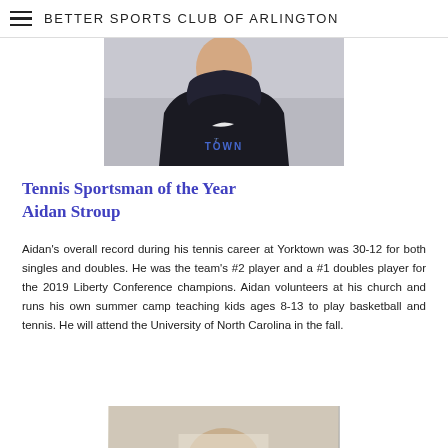BETTER SPORTS CLUB OF ARLINGTON
[Figure (photo): Photo of Aidan Stroup wearing a black Nike hoodie with 'TOWN' text, gray background, cropped at chest level]
Tennis Sportsman of the Year
Aidan Stroup
Aidan's overall record during his tennis career at Yorktown was 30-12 for both singles and doubles. He was the team's #2 player and a #1 doubles player for the 2019 Liberty Conference champions. Aidan volunteers at his church and runs his own summer camp teaching kids ages 8-13 to play basketball and tennis. He will attend the University of North Carolina in the fall.
[Figure (photo): Partial photo of another person, cropped at bottom of page]